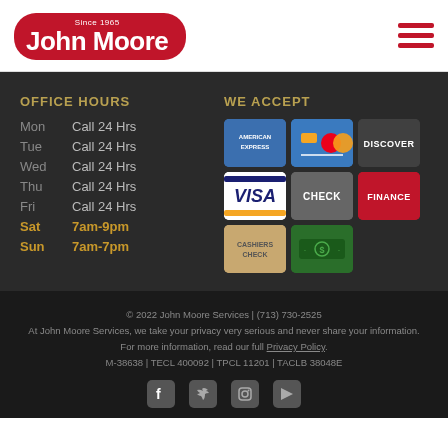[Figure (logo): John Moore Services logo - red rounded rectangle with white text 'Since 1965' and 'John Moore']
[Figure (illustration): Hamburger menu icon - three red horizontal bars]
OFFICE HOURS
Mon  Call 24 Hrs
Tue  Call 24 Hrs
Wed  Call 24 Hrs
Thu  Call 24 Hrs
Fri  Call 24 Hrs
Sat  7am-9pm
Sun  7am-7pm
WE ACCEPT
[Figure (illustration): Payment method icons grid: American Express, Visa/Mastercard, Discover, Visa, Check, Finance, Cashiers Check, Cash]
© 2022 John Moore Services | (713) 730-2525
At John Moore Services, we take your privacy very serious and never share your information.
For more information, read our full Privacy Policy.
M-38638 | TECL 400092 | TPCL 11201 | TACLB 38048E